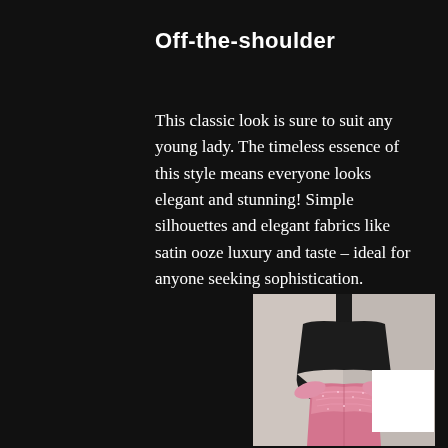Off-the-shoulder
This classic look is sure to suit any young lady. The timeless essence of this style means everyone looks elegant and stunning! Simple silhouettes and elegant fabrics like satin ooze luxury and taste – ideal for anyone seeking sophistication.
[Figure (photo): A black dress mannequin displaying an off-the-shoulder pink sequined gown, photographed against a light grey background.]